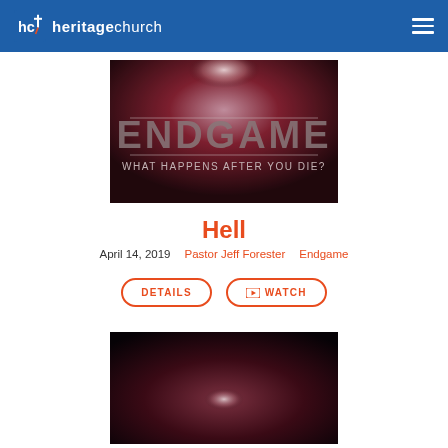heritagechurch
[Figure (photo): Endgame sermon series graphic: dark red nebula background with ENDGAME text and subtitle 'WHAT HAPPENS AFTER YOU DIE?']
Hell
April 14, 2019   Pastor Jeff Forester   Endgame
DETAILS   WATCH
[Figure (photo): Dark atmospheric church/stage image with dramatic lighting]